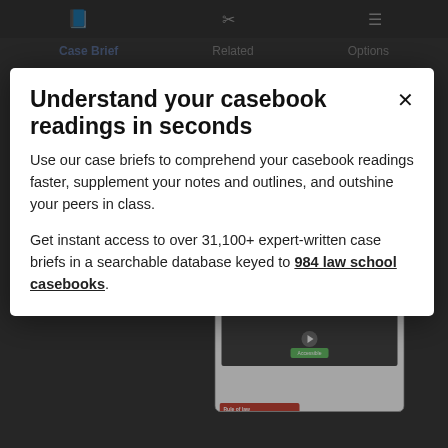[Figure (screenshot): Legal casebook reading app interface showing navigation icons, tab row with Case Brief, Related, Options. Background text about arbitration clause and Broemmer case. Section header 'Rule of Law'. Bottom screenshot thumbnail of Hadley v. Baxendale case brief UI with video player and tooltip.]
Understand your casebook readings in seconds
Use our case briefs to comprehend your casebook readings faster, supplement your notes and outlines, and outshine your peers in class.
Get instant access to over 31,100+ expert-written case briefs in a searchable database keyed to 984 law school casebooks.